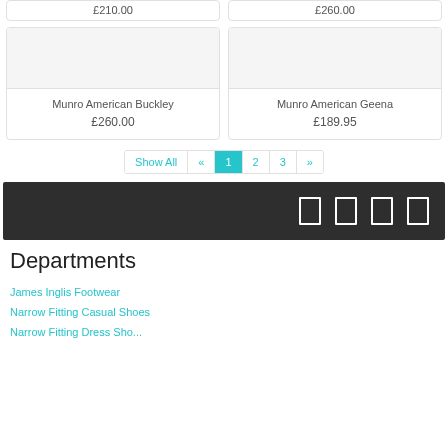£210.00
£260.00
[Figure (photo): Product image placeholder for Munro American Buckley]
Munro American Buckley
£260.00
[Figure (photo): Product image placeholder for Munro American Geena]
Munro American Geena
£189.95
Show All « 1 2 3 »
[Figure (other): Dark footer bar with four white rectangular social/share icons]
Departments
James Inglis Footwear
Narrow Fitting Casual Shoes
Narrow Fitting Dress Sho...